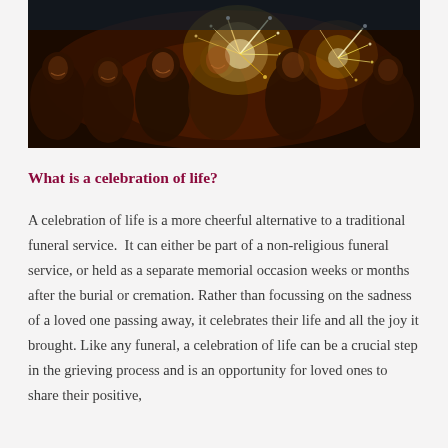[Figure (photo): A group of people smiling and laughing while holding sparklers in a dark setting, celebrating together.]
What is a celebration of life?
A celebration of life is a more cheerful alternative to a traditional funeral service.  It can either be part of a non-religious funeral service, or held as a separate memorial occasion weeks or months after the burial or cremation. Rather than focussing on the sadness of a loved one passing away, it celebrates their life and all the joy it brought. Like any funeral, a celebration of life can be a crucial step in the grieving process and is an opportunity for loved ones to share their positive,